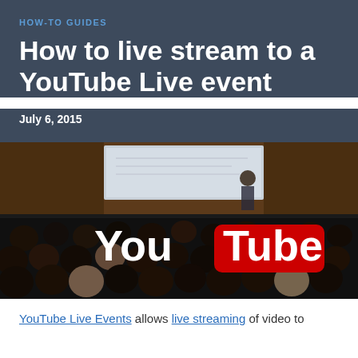HOW-TO GUIDES
How to live stream to a YouTube Live event
July 6, 2015
[Figure (photo): Audience watching a presenter at a podium with a projection screen, overlaid with the YouTube logo (You + red Tube badge).]
YouTube Live Events allows live streaming of video to